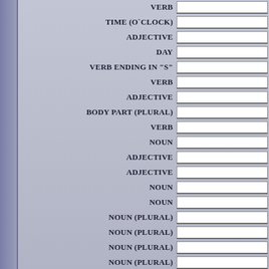VERB
TIME (O`CLOCK)
ADJECTIVE
DAY
VERB ENDING IN "S"
VERB
ADJECTIVE
BODY PART (PLURAL)
VERB
NOUN
ADJECTIVE
ADJECTIVE
NOUN
NOUN
NOUN (PLURAL)
NOUN (PLURAL)
NOUN (PLURAL)
NOUN (PLURAL)